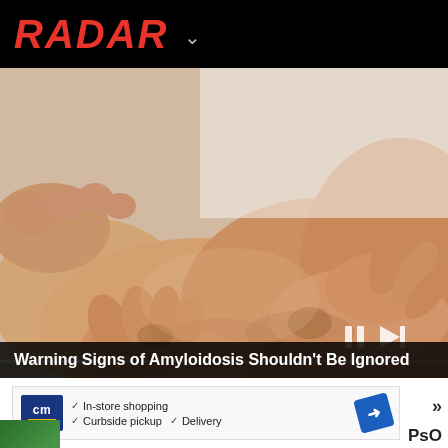RADAR
[Figure (photo): Close-up photo of hands pressing/squeezing a swollen ankle/foot area against a white background, suggesting edema or swelling symptom.]
Warning Signs of Amyloidosis Shouldn't Be Ignored
[Figure (screenshot): Advertisement showing CM logo with text: In-store shopping, Curbside pickup, Delivery, with a blue navigation arrow icon. Navigation arrows and PsO text visible on right side.]